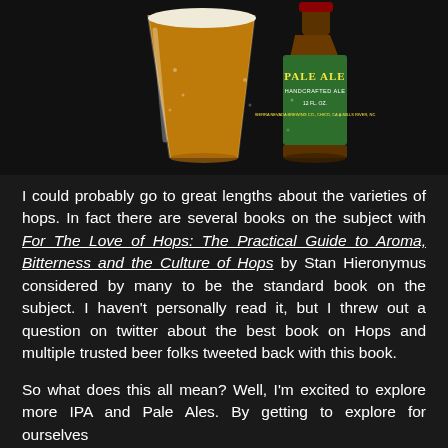[Figure (photo): Photo of a glass of golden pale ale beer next to a Sierra Nevada Pale Ale bottle with green label reading 'PALE ALE HANDCRAFTED ALE 12 FL. OZ. Sierra Nevada Brewing Co., Chico, CA & Mills River, NC', set against a dark background.]
I could probably go to great lengths about the varieties of hops. In fact there are several books on the subject with For The Love of Hops: The Practical Guide to Aroma, Bitterness and the Culture of Hops by Stan Hieronymus considered by many to be the standard book on the subject. I haven't personally read it, but I threw out a question on twitter about the best book on Hops and multiple trusted beer folks tweeted back with this book.
So what does this all mean? Well, I'm excited to explore more IPA and Pale Ales. By getting to explore for ourselves